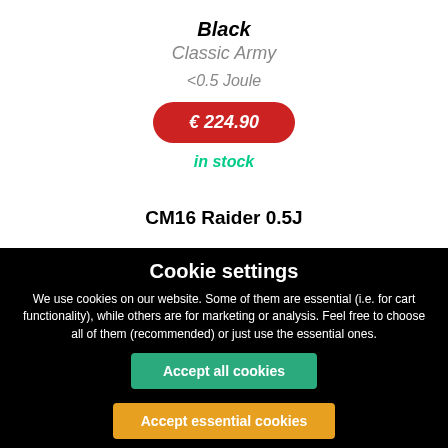Black
Classic Army
<0.5 Joule
€ 224.90
in stock
CM16 Raider 0.5J
Cookie settings
We use cookies on our website. Some of them are essential (i.e. for cart functionality), while others are for marketing or analysis. Feel free to choose all of them (recommended) or just use the essential ones.
Accept all cookies
Accept essential cookies
Refuse cookies